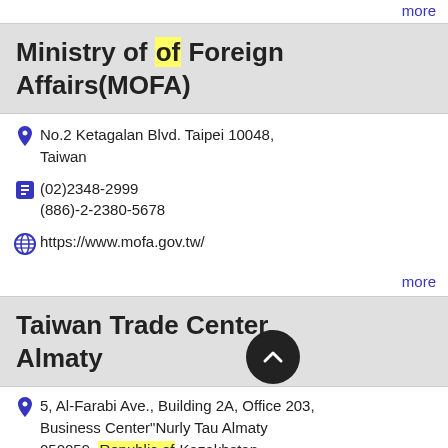more
Ministry of Foreign Affairs(MOFA)
No.2 Ketagalan Blvd. Taipei 10048, Taiwan
(02)2348-2999 (886)-2-2380-5678
https://www.mofa.gov.tw/
more
Taiwan Trade Center, Almaty
5, Al-Farabi Ave., Building 2A, Office 203, Business Center"Nurly Tau Almaty 050059, Republic of Kazakhstan
+7-727-277-7848
+7-727-277-7849